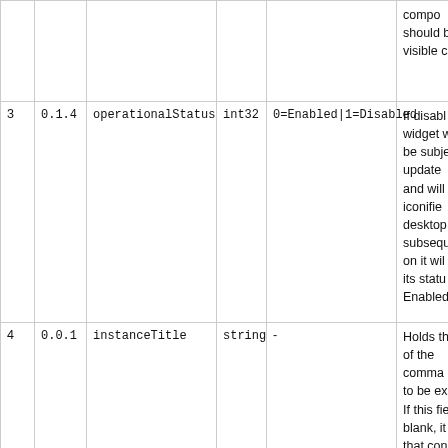| # | Ver | Name | Type | Values | Description |
| --- | --- | --- | --- | --- | --- |
|  |  |  |  |  | compo should b visible c |
| 3 | 0.1.4 | operationalStatus | int32 | 0=Enabled|1=Disabled | If disabl widget w be subje update  and will iconifie desktop subsequ on it wil its statu Enabled |
| 4 | 0.0.1 | instanceTitle | string | - | Holds th of the comma to be ex If this fie blank, it that con is still p in the w instance not pres more in |